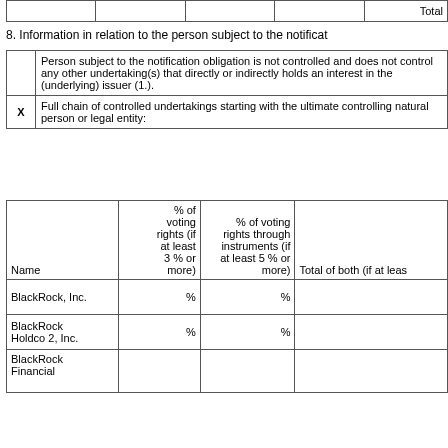|  |  |  | Total |
| --- | --- | --- | --- |
|  |  |  |  |
8. Information in relation to the person subject to the notification obligation
|  |  |
| --- | --- |
| Person subject to the notification obligation is not controlled and does not control any other undertaking(s) that directly or indirectly holds an interest in the (underlying) issuer (1.). |
| X | Full chain of controlled undertakings starting with the ultimate controlling natural person or legal entity: |
| Name | % of voting rights (if at least 3% or more) | % of voting rights through instruments (if at least 5% or more) | Total of both (if at least |
| --- | --- | --- | --- |
| BlackRock, Inc. | % | % |  |
| BlackRock Holdco 2, Inc. | % | % |  |
| BlackRock Financial |  |  |  |